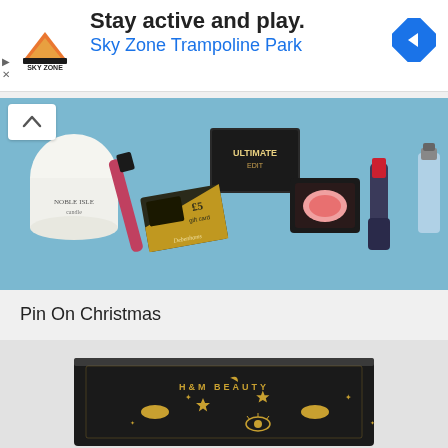[Figure (screenshot): Sky Zone Trampoline Park advertisement banner with logo, text 'Stay active and play. Sky Zone Trampoline Park', and navigation arrow icon]
[Figure (photo): Flat lay of beauty products on blue background: Noble Isle candle, lipstick pen, ULTIMATE eye palette, NARS blush compact, MAC lipstick, nail polish, and Debenhams £5 gift card]
Pin On Christmas
[Figure (photo): H&M Beauty advent calendar box — black box with gold celestial decorations including lips, stars, and eye motifs, with 'H&M BEAUTY' text]